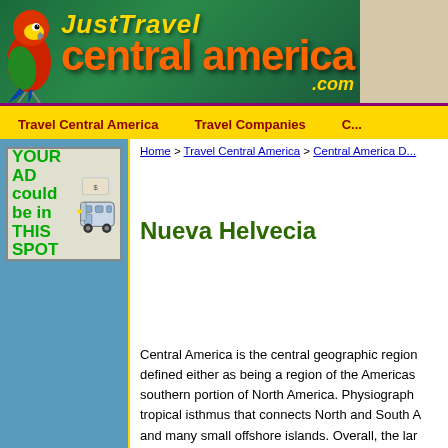[Figure (logo): JustTravel Central America .com logo with parrot on green background]
Travel Central America   Travel Companies   C...
Home > Travel Central America > Central America D...
[Figure (infographic): YOUR AD could be in THIS SPOT advertisement with bus image]
Nueva Helvecia
Central America is the central geographic region... defined either as being a region of the Americas... southern portion of North America. Physiograph... tropical isthmus that connects North and South A... and many small offshore islands. Overall, the lar... dominated through its heart by a string of volca...